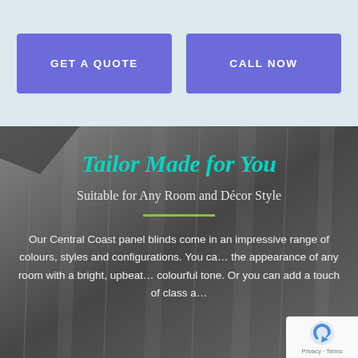GET A QUOTE
CALL NOW
Tailor Made for You
Suitable for Any Room and Décor Style
Our Central Coast panel blinds come in an impressive range of colours, styles and configurations. You can change the appearance of any room with a bright, upbeat, colourful tone. Or you can add a touch of class a...